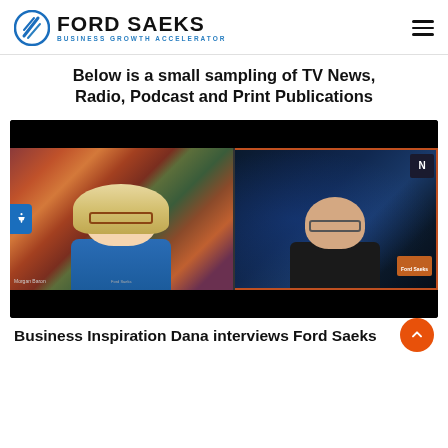Ford Saeks - Business Growth Accelerator
Below is a small sampling of TV News, Radio, Podcast and Print Publications
[Figure (screenshot): Video interview screenshot showing two people on a split screen. Left: a woman with blonde hair and glasses smiling, seated against a colorful brick wall background, labeled 'Morgan Baron'. Right: a bald man with glasses in a dark room with blue lighting, labeled 'Ford Saeks'. The video appears to be from a podcast or online interview platform.]
Business Inspiration Dana interviews Ford Saeks